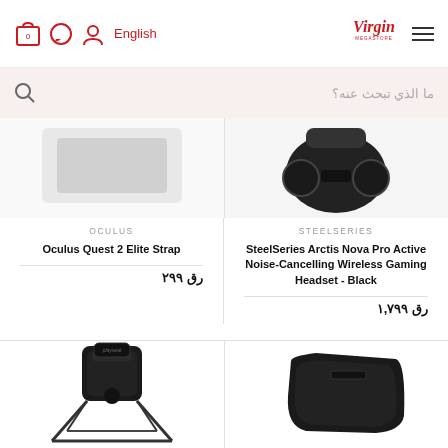[Figure (screenshot): Virgin Megastore website header with cart icon (0), message icon, user icon, English language selector, Virgin Megastore logo in red, and hamburger menu]
[Figure (screenshot): Search bar with magnifying glass icon and Arabic placeholder text 'ما الذي تبحث عنه؟']
OCULUS
Oculus Quest 2 Elite Strap
رق ٢٩٩
STEELSERIES
SteelSeries Arctis Nova Pro Active Noise-Cancelling Wireless Gaming Headset - Black
رق ١,٧٩٩
[Figure (photo): Racing simulator chair/cockpit - black Playseat style gaming chair with frame]
[Figure (photo): Black Xbox controller battery pack cover]